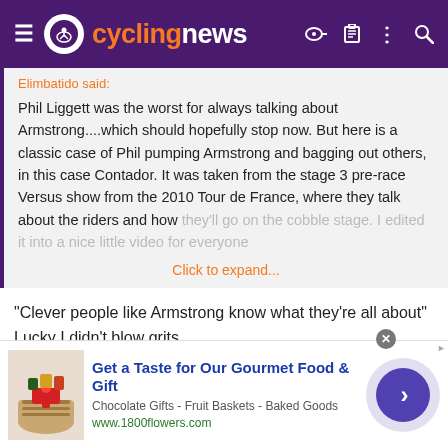cyclingnews
Elimbatido said:
Phil Liggett was the worst for always talking about Armstrong....which should hopefully stop now. But here is a classic case of Phil pumping Armstrong and bagging out others, in this case Contador. It was taken from the stage 3 pre-race Versus show from the 2010 Tour de France, where they talk about the riders and how they'll go on the cobble stage. I edited it into a nice little video for everyone
Click to expand...
"Clever people like Armstrong know what they're all about"
Lucky I didn't blow grits.
Clever indeed, Armstrong is.
Phil Liggett needs to go away as well.
[Figure (infographic): Advertisement banner for 1800flowers.com: Get a Taste for Our Gourmet Food & Gift. Chocolate Gifts - Fruit Baskets - Baked Goods. www.1800flowers.com]